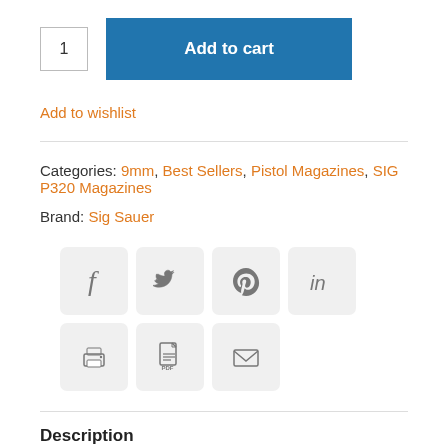1  Add to cart
Add to wishlist
Categories: 9mm, Best Sellers, Pistol Magazines, SIG P320 Magazines
Brand: Sig Sauer
[Figure (other): Social sharing icons: Facebook, Twitter, Pinterest, LinkedIn, Print, PDF, Email]
Description
Additional information